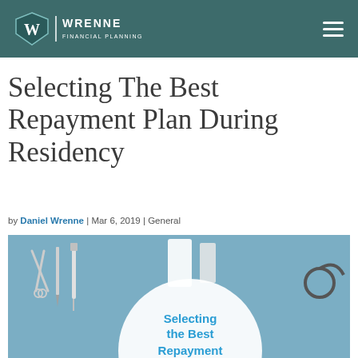Wrenne Financial Planning
Selecting The Best Repayment Plan During Residency
by Daniel Wrenne | Mar 6, 2019 | General
[Figure (photo): Medical instruments (scissors, tools, stethoscope) on a blue background with a white circle overlay reading 'Selecting the Best Repayment Plan During']